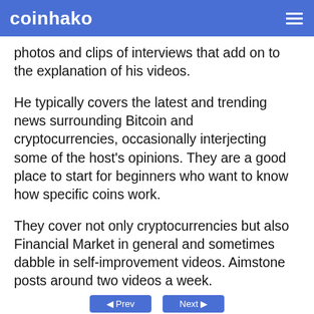coinhako
photos and clips of interviews that add on to the explanation of his videos.
He typically covers the latest and trending news surrounding Bitcoin and cryptocurrencies, occasionally interjecting some of the host’s opinions. They are a good place to start for beginners who want to know how specific coins work.
They cover not only cryptocurrencies but also Financial Market in general and sometimes dabble in self-improvement videos. Aimstone posts around two videos a week.